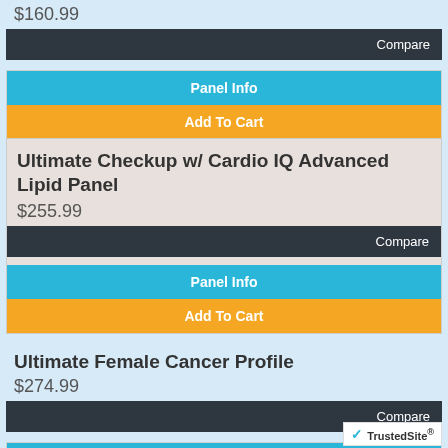$160.99
Compare
Panel Info
Add To Cart
Ultimate Checkup w/ Cardio IQ Advanced Lipid Panel
$255.99
Compare
Panel Info
Add To Cart
Ultimate Female Cancer Profile
$274.99
Compare
Panel Info
Add To Cart